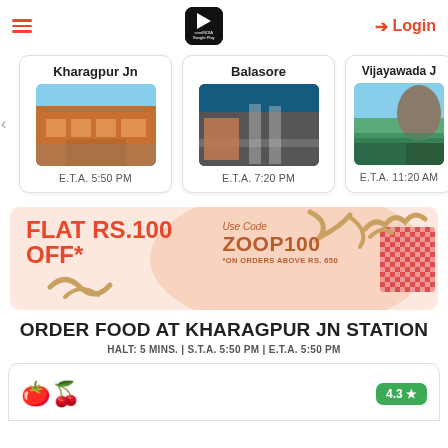Login
[Figure (screenshot): Station cards row showing Kharagpur Jn (E.T.A. 5:50 PM), Balasore (E.T.A. 7:20 PM), Vijayawada J (E.T.A. 11:20 AM)]
[Figure (infographic): Promotional banner: FLAT RS.100 OFF* Use Code ZOOP100 *ON ORDERS ABOVE RS. 650]
ORDER FOOD AT KHARAGPUR JN STATION
HALT: 5 MINS. | S.T.A. 5:50 PM | E.T.A. 5:50 PM
[Figure (screenshot): Restaurant card bottom partial view with food emoji and 4.3 star rating badge]